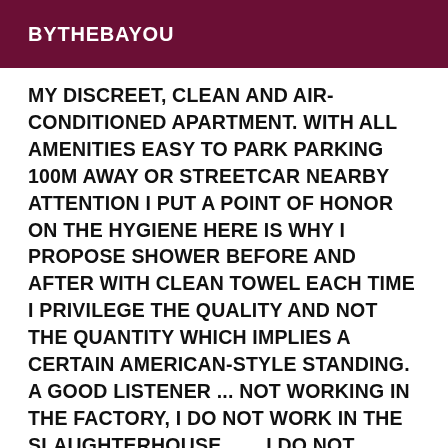BYTHEBAYOU
MY DISCREET, CLEAN AND AIR-CONDITIONED APARTMENT. WITH ALL AMENITIES EASY TO PARK PARKING 100M AWAY OR STREETCAR NEARBY ATTENTION I PUT A POINT OF HONOR ON THE HYGIENE HERE IS WHY I PROPOSE SHOWER BEFORE AND AFTER WITH CLEAN TOWEL EACH TIME I PRIVILEGE THE QUALITY AND NOT THE QUANTITY WHICH IMPLIES A CERTAIN AMERICAN-STYLE STANDING. A GOOD LISTENER ... NOT WORKING IN THE FACTORY, I DO NOT WORK IN THE SLAUGHTERHOUSE ...... I DO NOT RECEIVE MORE THAN 3 APPOINTMENTS PER DAY YOU JUST HAVE TO WARN ME IN THE MORNING FOR AN APPOINTMENT DURING THE DAY BUT IF YOU CAN TAKE IT IN ADVANCE IT'S EVEN BETTER AND TO CONFIRM 1 HOUR BEFORE THE ONE WITH A LIMITED NUMBER OF APPOINTMENTS PER DAY TO BE AT THE TOP OF MY FORM FOR EACH OF YOU. I